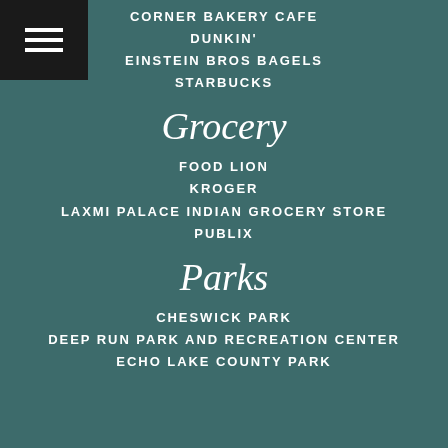CORNER BAKERY CAFE
DUNKIN'
EINSTEIN BROS BAGELS
STARBUCKS
Grocery
FOOD LION
KROGER
LAXMI PALACE INDIAN GROCERY STORE
PUBLIX
Parks
CHESWICK PARK
DEEP RUN PARK AND RECREATION CENTER
ECHO LAKE COUNTY PARK